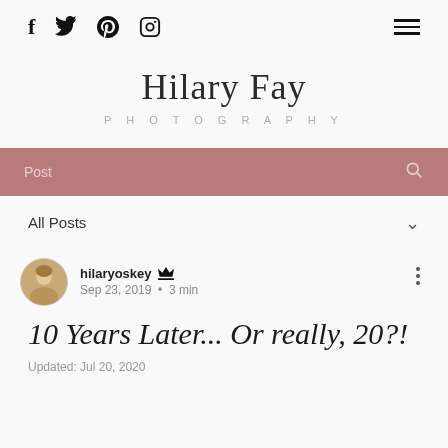f  Twitter  Pinterest  Instagram  [hamburger menu]
Hilary Fay
PHOTOGRAPHY
Post [search bar]
All Posts
hilaryoskey  Sep 23, 2019  •  3 min
10 Years Later... Or really, 20?!
Updated: Jul 20, 2020